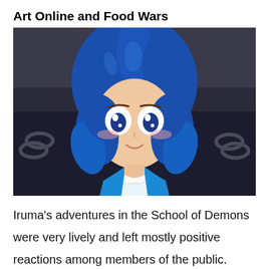Art Online and Food Wars
[Figure (illustration): Anime character with blue hair and large white eyes smiling, wearing a blue outfit, set against a dark background with chains visible]
Iruma’s adventures in the School of Demons were very lively and left mostly positive reactions among members of the public. Many were